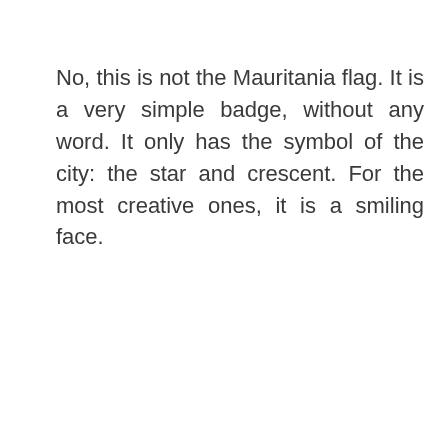No, this is not the Mauritania flag. It is a very simple badge, without any word. It only has the symbol of the city: the star and crescent. For the most creative ones, it is a smiling face.